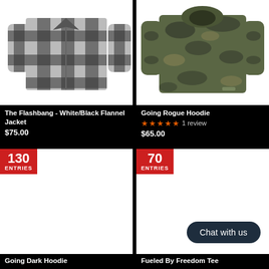[Figure (photo): Gray and black buffalo plaid flannel jacket on white background]
The Flashbang - White/Black Flannel Jacket
$75.00
[Figure (photo): Camouflage hoodie on white background]
Going Rogue Hoodie
★★★★★ 1 review
$65.00
[Figure (photo): Product image with 130 ENTRIES badge, white background]
Going Dark Hoodie
[Figure (photo): Product image with 70 ENTRIES badge, white background, Chat with us button]
Fueled By Freedom Tee